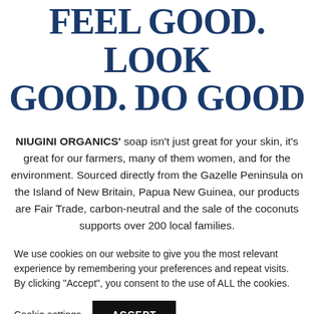FEEL GOOD. LOOK GOOD. DO GOOD
NIUGINI ORGANICS' soap isn't just great for your skin, it's great for our farmers, many of them women, and for the environment. Sourced directly from the Gazelle Peninsula on the Island of New Britain, Papua New Guinea, our products are Fair Trade, carbon-neutral and the sale of the coconuts supports over 200 local families.
We use cookies on our website to give you the most relevant experience by remembering your preferences and repeat visits. By clicking “Accept”, you consent to the use of ALL the cookies.
Cookie settings | ACCEPT